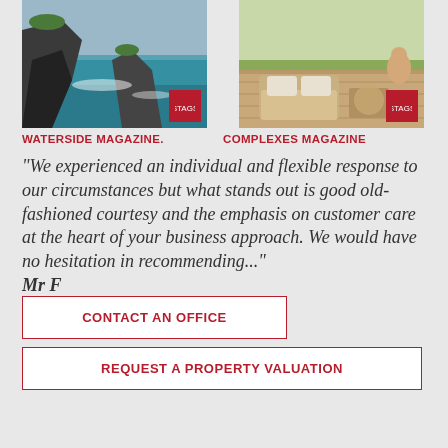[Figure (photo): Photo of coastal cliffs with blue-green water, with a red STAGS logo badge in the bottom right corner]
WATERSIDE MAGAZINE.
[Figure (photo): Photo of an outdoor patio/terrace with wicker furniture, with a red STAGS logo badge in the bottom right corner]
COMPLEXES MAGAZINE
“We experienced an individual and flexible response to our circumstances but what stands out is good old-fashioned courtesy and the emphasis on customer care at the heart of your business approach. We would have no hesitation in recommending...” Mr F
CONTACT AN OFFICE
REQUEST A PROPERTY VALUATION